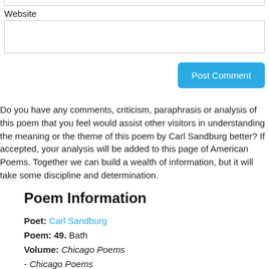Website
Post Comment
Do you have any comments, criticism, paraphrasis or analysis of this poem that you feel would assist other visitors in understanding the meaning or the theme of this poem by Carl Sandburg better? If accepted, your analysis will be added to this page of American Poems. Together we can build a wealth of information, but it will take some discipline and determination.
Poem Information
Poet: Carl Sandburg
Poem: 49. Bath
Volume: Chicago Poems
- Chicago Poems
Year: Published/Written in 1912